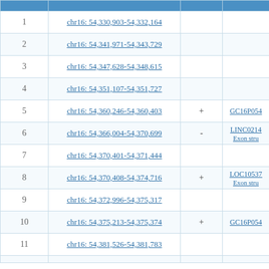|  |  |  |  |
| --- | --- | --- | --- |
| 1 | chr16: 54,330,903-54,332,164 |  |  |
| 2 | chr16: 54,341,971-54,343,729 |  |  |
| 3 | chr16: 54,347,628-54,348,615 |  |  |
| 4 | chr16: 54,351,107-54,351,727 |  |  |
| 5 | chr16: 54,360,246-54,360,403 | + | GC16P054 |
| 6 | chr16: 54,366,004-54,370,699 | - | LINC0214 Exon stru |
| 7 | chr16: 54,370,401-54,371,444 |  |  |
| 8 | chr16: 54,370,408-54,374,716 | + | LOC10537 Exon stru |
| 9 | chr16: 54,372,996-54,375,317 |  |  |
| 10 | chr16: 54,375,213-54,375,374 | + | GC16P054 |
| 11 | chr16: 54,381,526-54,381,783 |  |  |